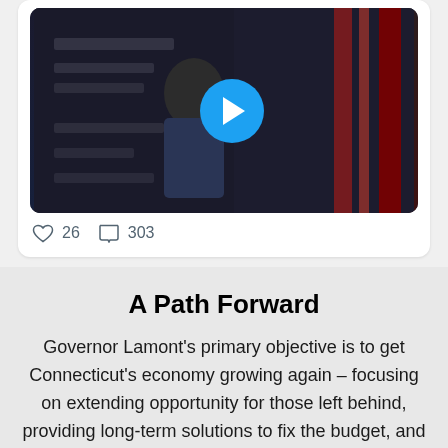[Figure (screenshot): Video thumbnail showing a person in athletic wear with a blue play button overlay, embedded in a social media card]
26  303
A Path Forward
Governor Lamont's primary objective is to get Connecticut's economy growing again – focusing on extending opportunity for those left behind, providing long-term solutions to fix the budget, and attracting the next generation of